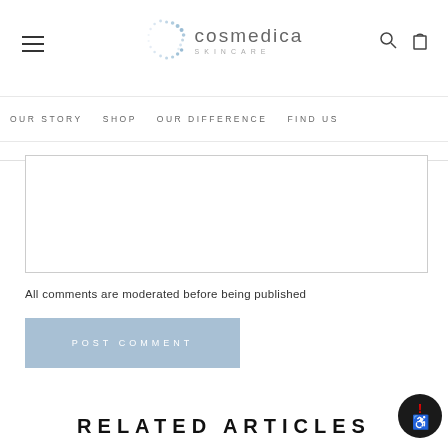cosmedica SKINCARE — OUR STORY | SHOP | OUR DIFFERENCE | FIND US
[Figure (screenshot): Empty comment text area input box with light grey border]
All comments are moderated before being published
POST COMMENT
RELATED ARTICLES